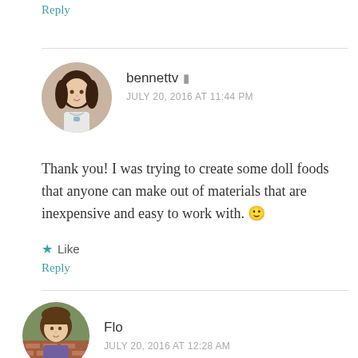Reply
bennettv  JULY 20, 2016 AT 11:44 PM
Thank you! I was trying to create some doll foods that anyone can make out of materials that are inexpensive and easy to work with. 🙂
★ Like
Reply
Flo  JULY 20, 2016 AT 12:28 AM